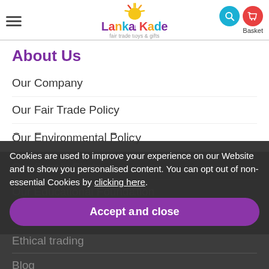Lanka Kade - fair trade toys & gifts
About Us
Our Company
Our Fair Trade Policy
Our Environmental Policy
Our Supply Chain
Our Educational Foundation
Toy Safety
Ethical Trading
Blog
Cookies are used to improve your experience on our Website and to show you personalised content. You can opt out of non-essential Cookies by clicking here.
Accept and close